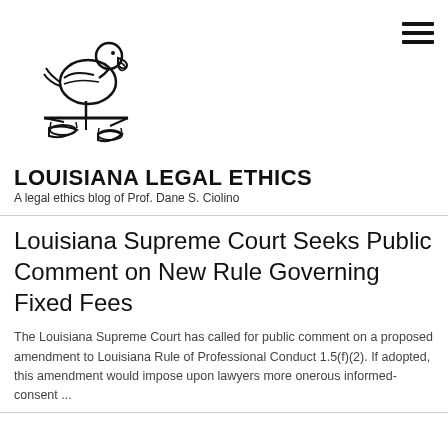[Figure (logo): Louisiana Legal Ethics logo: a pelican bird standing on a balance scale, drawn in black ink outline style]
LOUISIANA LEGAL ETHICS
A legal ethics blog of Prof. Dane S. Ciolino
Louisiana Supreme Court Seeks Public Comment on New Rule Governing Fixed Fees
The Louisiana Supreme Court has called for public comment on a proposed amendment to Louisiana Rule of Professional Conduct 1.5(f)(2). If adopted, this amendment would impose upon lawyers more onerous informed-consent ...